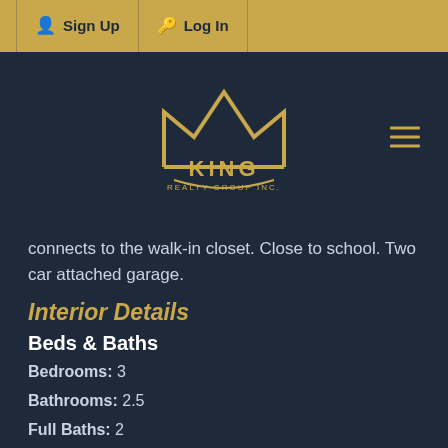Sign Up   Log In
[Figure (logo): King Realty Group Inc. crown logo in gold on dark navy background, with hamburger menu icon on right]
connects to the walk-in closet. Close to school. Two car attached garage.
Interior Details
Beds & Baths
Bedrooms:  3
Bathrooms:  2.5
Full Baths:  2
Half Baths:  1
Interior Features